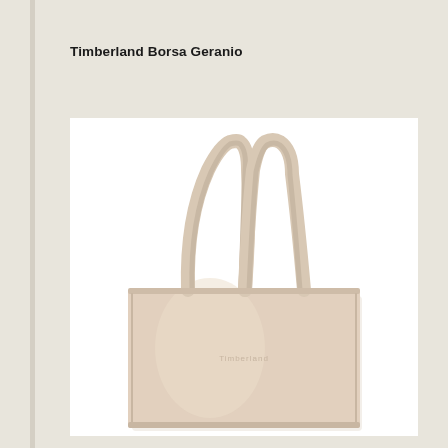Timberland Borsa Geranio
[Figure (photo): A beige/cream colored Timberland leather tote bag with two shoulder straps, shown against a white background. The bag has a simple rectangular shape with the Timberland logo subtly embossed on the front.]